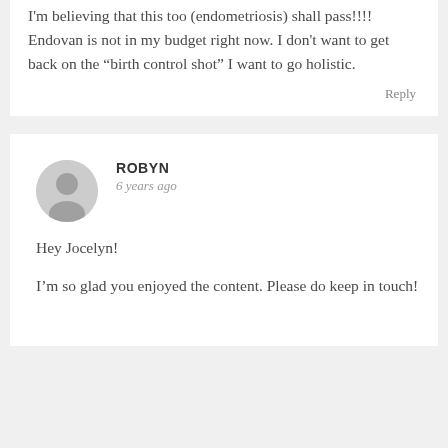I'm believing that this too (endometriosis) shall pass!!!! Endovan is not in my budget right now. I don't want to get back on the “birth control shot” I want to go holistic.
Reply
ROBYN
6 years ago
Hey Jocelyn!
I’m so glad you enjoyed the content. Please do keep in touch!